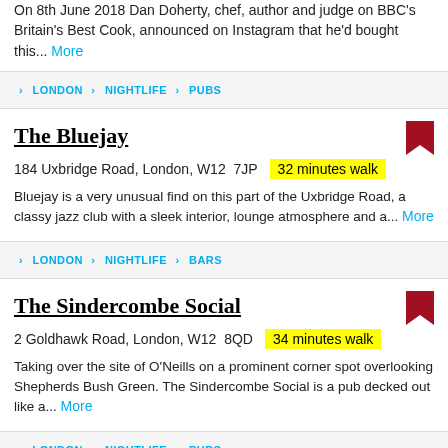On 8th June 2018 Dan Doherty, chef, author and judge on BBC's Britain's Best Cook, announced on Instagram that he'd bought this... More
LONDON > NIGHTLIFE > PUBS
The Bluejay
184 Uxbridge Road, London, W12 7JP  32 minutes walk
Bluejay is a very unusual find on this part of the Uxbridge Road, a classy jazz club with a sleek interior, lounge atmosphere and a... More
LONDON > NIGHTLIFE > BARS
The Sindercombe Social
2 Goldhawk Road, London, W12 8QD  34 minutes walk
Taking over the site of O'Neills on a prominent corner spot overlooking Shepherds Bush Green. The Sindercombe Social is a pub decked out like a... More
LONDON > NIGHTLIFE > PUBS